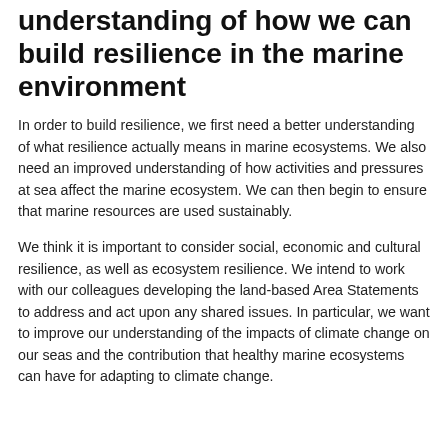understanding of how we can build resilience in the marine environment
In order to build resilience, we first need a better understanding of what resilience actually means in marine ecosystems. We also need an improved understanding of how activities and pressures at sea affect the marine ecosystem. We can then begin to ensure that marine resources are used sustainably.
We think it is important to consider social, economic and cultural resilience, as well as ecosystem resilience. We intend to work with our colleagues developing the land-based Area Statements to address and act upon any shared issues. In particular, we want to improve our understanding of the impacts of climate change on our seas and the contribution that healthy marine ecosystems can have for adapting to climate change.